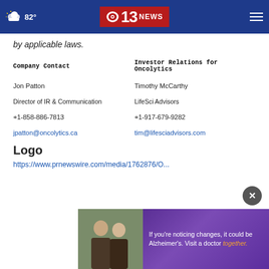CBS 13 News header with weather 82° and hamburger menu
by applicable laws.
| Company Contact | Investor Relations for Oncolytics |
| --- | --- |
| Jon Patton | Timothy McCarthy |
| Director of IR & Communication | LifeSci Advisors |
| +1-858-886-7813 | +1-917-679-9282 |
| jpatton@oncolytics.ca | tim@lifesciadvisors.com |
Logo
https://www.prnewswire.com/media/1762876/O...
[Figure (advertisement): Ad banner: If you're noticing changes, it could be Alzheimer's. Visit a doctor together.]